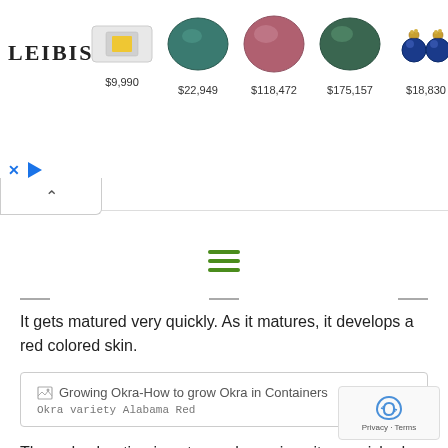[Figure (other): Leibish advertisement banner showing logo and 5 gem/jewelry items with prices: $9,990 (ring with yellow diamond), $22,949 (blue-green oval gem), $118,472 (pink oval gem), $175,157 (green oval gem), $18,830 (sapphire earrings)]
[Figure (other): Hamburger menu icon (three green horizontal lines)]
It gets matured very quickly. As it matures, it develops a red colored skin.
[Figure (photo): Broken image placeholder labeled 'Growing Okra-How to grow Okra in Containers' with caption 'Okra variety Alabama Red']
Okra variety Alabama Red
The red coloration is not seen here since it was picked quite early.
[Figure (photo): Broken image link labeled 'MyGarden 1465']